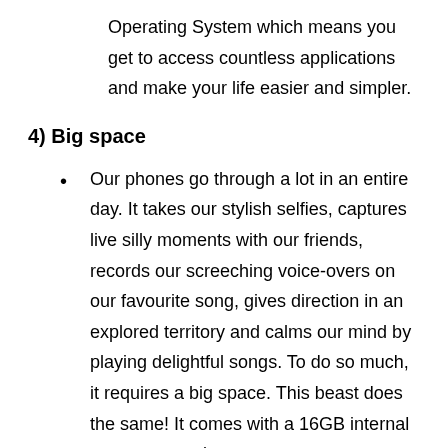Operating System which means you get to access countless applications and make your life easier and simpler.
4) Big space
Our phones go through a lot in an entire day. It takes our stylish selfies, captures live silly moments with our friends, records our screeching voice-overs on our favourite song, gives direction in an explored territory and calms our mind by playing delightful songs. To do so much, it requires a big space. This beast does the same! It comes with a 16GB internal storage capacity to store our never ending files without having to sacrifice on precious memories in